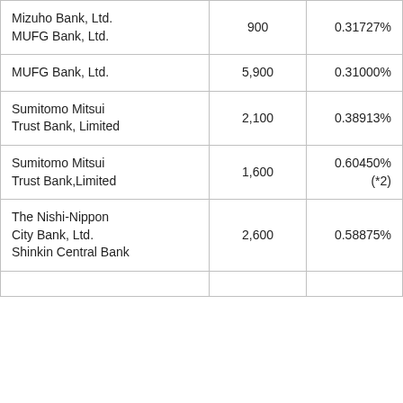| Mizuho Bank, Ltd.
MUFG Bank, Ltd. | 900 | 0.31727% |
| MUFG Bank, Ltd. | 5,900 | 0.31000% |
| Sumitomo Mitsui Trust Bank, Limited | 2,100 | 0.38913% |
| Sumitomo Mitsui Trust Bank, Limited | 1,600 | 0.60450%
(*2) |
| The Nishi-Nippon City Bank, Ltd.
Shinkin Central Bank | 2,600 | 0.58875% |
|  |  |  |